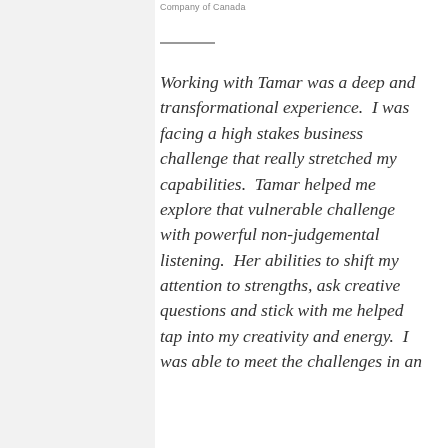Company of Canada
Working with Tamar was a deep and transformational experience.  I was facing a high stakes business challenge that really stretched my capabilities.  Tamar helped me explore that vulnerable challenge with powerful non-judgemental listening.  Her abilities to shift my attention to strengths, ask creative questions and stick with me helped tap into my creativity and energy.  I was able to meet the challenges in an